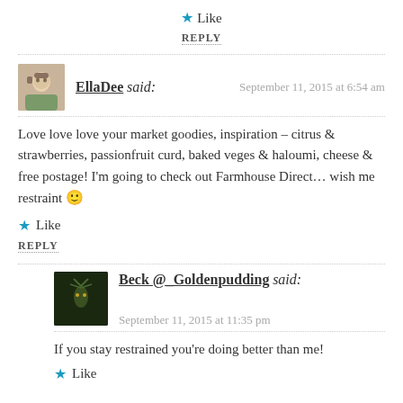★ Like
REPLY
EllaDee said: September 11, 2015 at 6:54 am
Love love love your market goodies, inspiration – citrus & strawberries, passionfruit curd, baked veges & haloumi, cheese & free postage! I'm going to check out Farmhouse Direct… wish me restraint 🙂
★ Like
REPLY
Beck @_Goldenpudding said: September 11, 2015 at 11:35 pm
If you stay restrained you're doing better than me!
★ Like